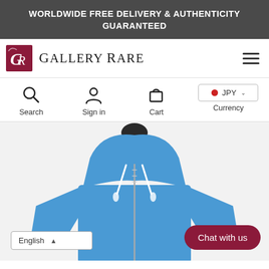WORLDWIDE FREE DELIVERY & AUTHENTICITY GUARANTEED
[Figure (logo): Gallery Rare logo with stylized GR monogram in dark red and serif text 'GALLERY RARE']
[Figure (infographic): Navigation icon bar with Search, Sign in, Cart icons and JPY Currency selector]
[Figure (photo): Blue zip-up hoodie displayed on a black mannequin with white drawstrings]
English
Chat with us